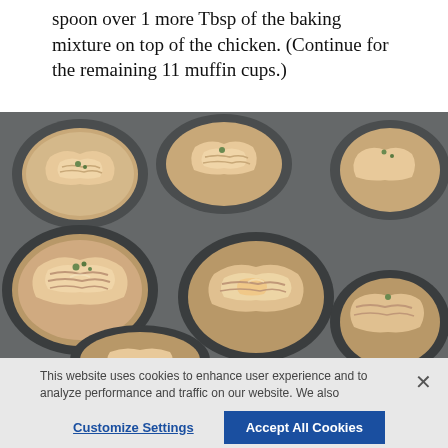spoon over 1 more Tbsp of the baking mixture on top of the chicken. (Continue for the remaining 11 muffin cups.)
[Figure (photo): Close-up photo of a dark muffin tin with multiple cups filled with creamy chicken mixture, showing shredded chicken in a white cream sauce with green herb garnish]
This website uses cookies to enhance user experience and to analyze performance and traffic on our website. We also share information about your use of our site with our social media, advertising and analytics partners. Link to Cookie Policy
Customize Settings
Accept All Cookies